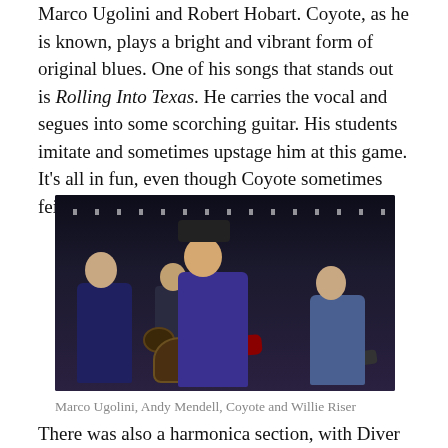Marco Ugolini and Robert Hobart. Coyote, as he is known, plays a bright and vibrant form of original blues. One of his songs that stands out is Rolling Into Texas. He carries the vocal and segues into some scorching guitar. His students imitate and sometimes upstage him at this game. It's all in fun, even though Coyote sometimes feigns annoyance.
[Figure (photo): Band performing on stage. Four musicians: guitarist on left in dark shirt, drummer in back center, lead guitarist/vocalist in center wearing hat and purple shirt, bassist on right in blue shirt.]
Marco Ugolini, Andy Mendell, Coyote and Willie Riser
There was also a harmonica section, with Diver Dave and Scott Sherman, that hangs out at the edge of the dance